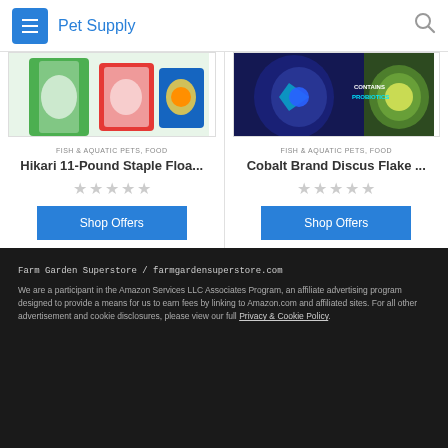Pet Supply
[Figure (photo): Product image for Hikari 11-Pound Staple Floating Pellets fish food, colorful packaging]
FISH & AQUATIC PETS, FOOD
Hikari 11-Pound Staple Floa...
[Figure (photo): Product image for Cobalt Brand Discus Flake food with probiotics label visible]
FISH & AQUATIC PETS, FOOD
Cobalt Brand Discus Flake ...
Farm Garden Superstore / farmgardensuperstore.com We are a participant in the Amazon Services LLC Associates Program, an affiliate advertising program designed to provide a means for us to earn fees by linking to Amazon.com and affiliated sites. For all other advertisement and cookie disclosures, please view our full Privacy & Cookie Policy.